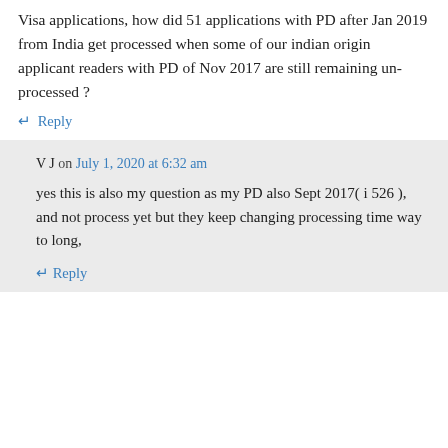Visa applications, how did 51 applications with PD after Jan 2019 from India get processed when some of our indian origin applicant readers with PD of Nov 2017 are still remaining un-processed ?
↵ Reply
V J on July 1, 2020 at 6:32 am
yes this is also my question as my PD also Sept 2017( i 526 ), and not process yet but they keep changing processing time way to long,
↵ Reply